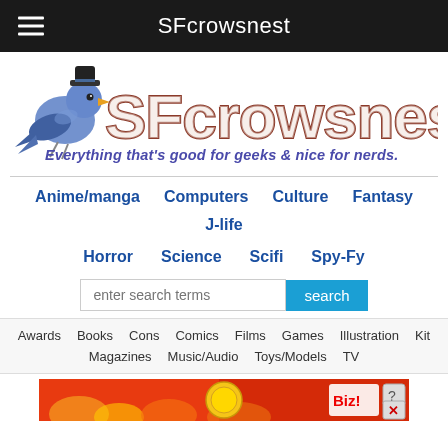SFcrowsnest
[Figure (logo): SFcrowsnest logo with cartoon crow and large stylized text 'SFcrowsnest', subtitle 'Everything that's good for geeks & nice for nerds.']
Anime/manga
Computers
Culture
Fantasy
J-life
Horror
Science
Scifi
Spy-Fy
Awards
Books
Cons
Comics
Films
Games
Illustration
Kit
Magazines
Music/Audio
Toys/Models
TV
[Figure (illustration): Partial banner ad with red/orange background visible at bottom of page]